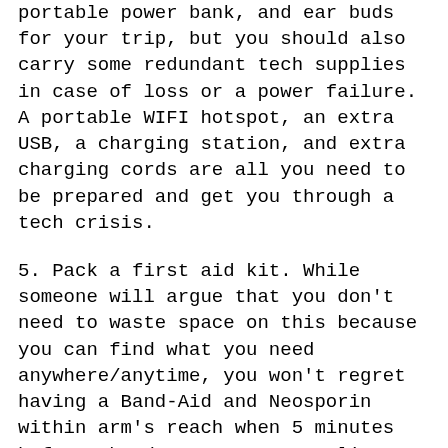portable power bank, and ear buds for your trip, but you should also carry some redundant tech supplies in case of loss or a power failure. A portable WIFI hotspot, an extra USB, a charging station, and extra charging cords are all you need to be prepared and get you through a tech crisis.
5. Pack a first aid kit. While someone will argue that you don't need to waste space on this because you can find what you need anywhere/anytime, you won't regret having a Band-Aid and Neosporin within arm's reach when 5 minutes before the doors open, you slice your finger on a sharp table edge. You need to have the basics on hand. Besides your prescription medications, be sure to pack painkillers, antihistamines, anti-diarrheal, eye drops, and of course, Band-Aids and Neosporin. It's also a